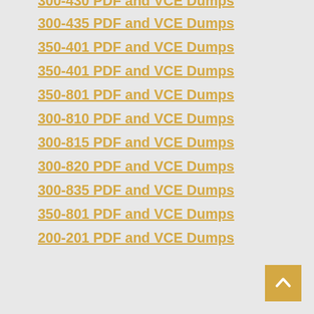300-430 PDF and VCE Dumps
300-435 PDF and VCE Dumps
350-401 PDF and VCE Dumps
350-401 PDF and VCE Dumps
350-801 PDF and VCE Dumps
300-810 PDF and VCE Dumps
300-815 PDF and VCE Dumps
300-820 PDF and VCE Dumps
300-835 PDF and VCE Dumps
350-801 PDF and VCE Dumps
200-201 PDF and VCE Dumps